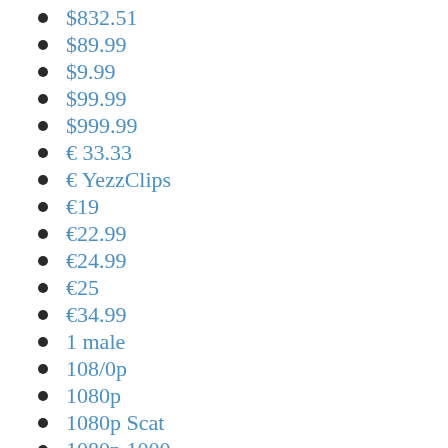$832.51
$89.99
$9.99
$99.99
$999.99
€ 33.33
€ YezzClips
€19
€22.99
€24.99
€25
€34.99
1 male
108/0p
1080p
1080p Scat
1080p 1000